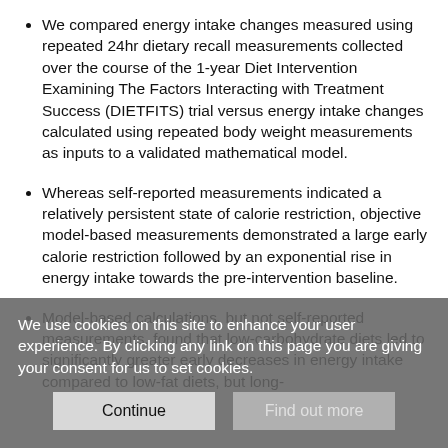We compared energy intake changes measured using repeated 24hr dietary recall measurements collected over the course of the 1-year Diet Intervention Examining The Factors Interacting with Treatment Success (DIETFITS) trial versus energy intake changes calculated using repeated body weight measurements as inputs to a validated mathematical model.
Whereas self-reported measurements indicated a relatively persistent state of calorie restriction, objective model-based measurements demonstrated a large early calorie restriction followed by an exponential rise in energy intake towards the pre-intervention baseline.
Model-based calculations, but not self-reported measurements, found that low-carbohydrate diets led to significantly greater early decreases in energy intake compared to low-fat diets, but long-
We use cookies on this site to enhance your user experience. By clicking any link on this page you are giving your consent for us to set cookies.